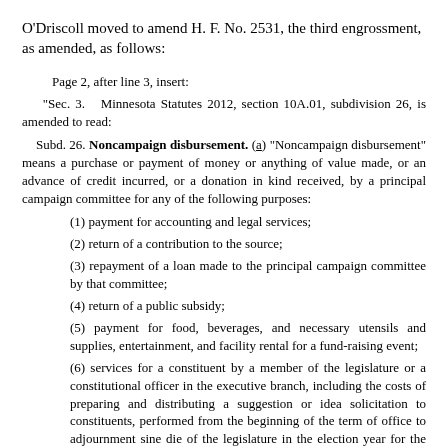O'Driscoll moved to amend H. F. No. 2531, the third engrossment, as amended, as follows:
Page 2, after line 3, insert:
"Sec. 3. Minnesota Statutes 2012, section 10A.01, subdivision 26, is amended to read:
Subd. 26. Noncampaign disbursement. (a) "Noncampaign disbursement" means a purchase or payment of money or anything of value made, or an advance of credit incurred, or a donation in kind received, by a principal campaign committee for any of the following purposes:
(1) payment for accounting and legal services;
(2) return of a contribution to the source;
(3) repayment of a loan made to the principal campaign committee by that committee;
(4) return of a public subsidy;
(5) payment for food, beverages, and necessary utensils and supplies, entertainment, and facility rental for a fund-raising event;
(6) services for a constituent by a member of the legislature or a constitutional officer in the executive branch, including the costs of preparing and distributing a suggestion or idea solicitation to constituents, performed from the beginning of the term of office to adjournment sine die of the legislature in the election year for the office held, and half the cost of services for a constituent by a member of the legislature or a constitutional officer in the executive branch performed from adjournment to 90 days after adjournment, including direct